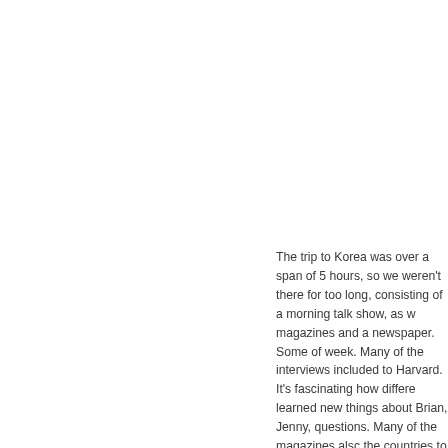The trip to Korea was over a span of 5 hours, so we weren't there for too long, consisting of a morning talk show, as w magazines and a newspaper. Some of week. Many of the interviews included to Harvard. It's fascinating how differe learned new things about Brian, Jenny, questions. Many of the magazines alsc the countries to which we traveled. We traveling. I think one of the things we a the United States, not just at Harvard, able to study what we're passionate ab countries due to family expectations or also agreed that we learned a lot more think about when considering cultural c structure, etc. that come to mind. How